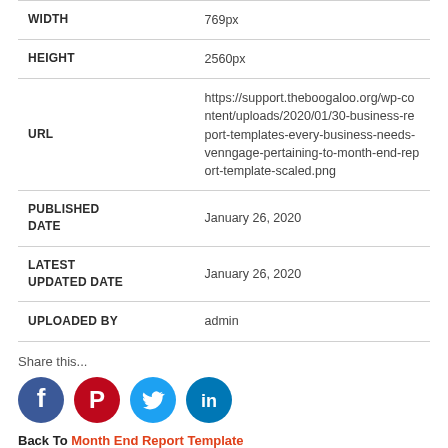| Field | Value |
| --- | --- |
| WIDTH | 769px |
| HEIGHT | 2560px |
| URL | https://support.theboogaloo.org/wp-content/uploads/2020/01/30-business-report-templates-every-business-needs-venngage-pertaining-to-month-end-report-template-scaled.png |
| PUBLISHED DATE | January 26, 2020 |
| LATEST UPDATED DATE | January 26, 2020 |
| UPLOADED BY | admin |
Share this...
[Figure (infographic): Social media share icons: Facebook (blue circle with f), Pinterest (red circle with P), Twitter (light blue circle with bird), LinkedIn (blue circle with in)]
Back To Month End Report Template